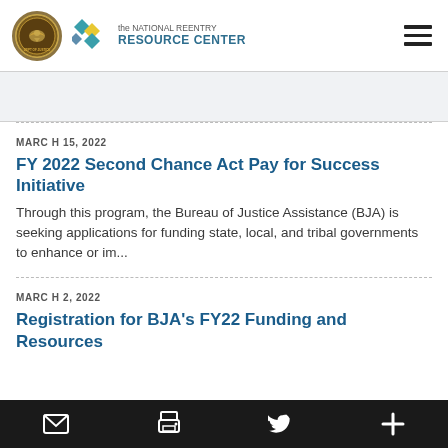the NATIONAL REENTRY RESOURCE CENTER
MARCH 15, 2022
FY 2022 Second Chance Act Pay for Success Initiative
Through this program, the Bureau of Justice Assistance (BJA) is seeking applications for funding state, local, and tribal governments to enhance or im...
MARCH 2, 2022
Registration for BJA's FY22 Funding and Resources